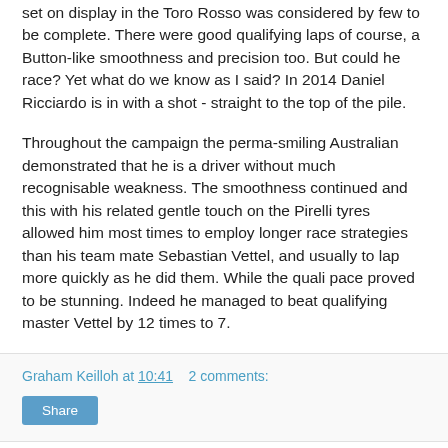set on display in the Toro Rosso was considered by few to be complete. There were good qualifying laps of course, a Button-like smoothness and precision too. But could he race? Yet what do we know as I said? In 2014 Daniel Ricciardo is in with a shot - straight to the top of the pile.
Throughout the campaign the perma-smiling Australian demonstrated that he is a driver without much recognisable weakness. The smoothness continued and this with his related gentle touch on the Pirelli tyres allowed him most times to employ longer race strategies than his team mate Sebastian Vettel, and usually to lap more quickly as he did them. While the quali pace proved to be stunning. Indeed he managed to beat qualifying master Vettel by 12 times to 7.
Graham Keilloh at 10:41   2 comments:
Share
Wednesday, 3 December 2014
Inside Line F1 Podcast: Drive It Like